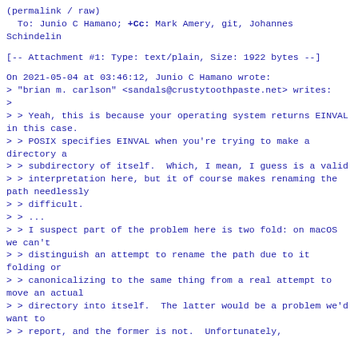(permalink / raw)
  To: Junio C Hamano; +Cc: Mark Amery, git, Johannes Schindelin
[-- Attachment #1: Type: text/plain, Size: 1922 bytes --]
On 2021-05-04 at 03:46:12, Junio C Hamano wrote:
> "brian m. carlson" <sandals@crustytoothpaste.net> writes:
>
> > Yeah, this is because your operating system returns EINVAL in this case.
> > POSIX specifies EINVAL when you're trying to make a directory a
> > subdirectory of itself.  Which, I mean, I guess is a valid
> > interpretation here, but it of course makes renaming the path needlessly
> > difficult.
> > ...
> > I suspect part of the problem here is two fold: on macOS we can't
> > distinguish an attempt to rename the path due to it folding or
> > canonicalizing to the same thing from a real attempt to move an actual
> > directory into itself.  The latter would be a problem we'd want to
> > report, and the former is not.  Unfortunately,